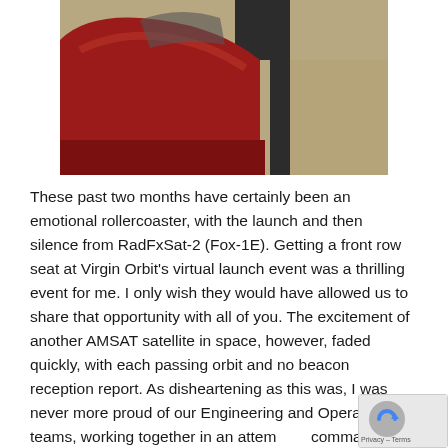[Figure (photo): Partial photo showing a red car on the left and a person in dark clothing standing on dry grass background, cropped at top.]
These past two months have certainly been an emotional rollercoaster, with the launch and then silence from RadFxSat-2 (Fox-1E).  Getting a front row seat at Virgin Orbit's virtual launch event was a thrilling event for me.  I only wish they would have allowed us to share that opportunity with all of you.  The excitement of another AMSAT satellite in space, however, faded quickly, with each passing orbit and no beacon reception report.  As disheartening as this was, I was never more proud of our Engineering and Operations teams, working together in an attem command RadFxSat-2.
[Figure (other): Small reCAPTCHA privacy widget in bottom right corner showing blue/grey icon with up arrow and Privacy – Terms text.]